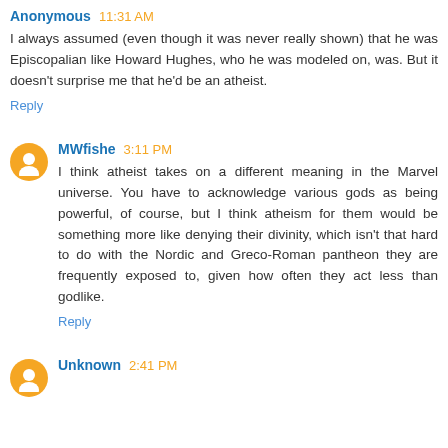Anonymous 11:31 AM
I always assumed (even though it was never really shown) that he was Episcopalian like Howard Hughes, who he was modeled on, was. But it doesn't surprise me that he'd be an atheist.
Reply
MWfishe 3:11 PM
I think atheist takes on a different meaning in the Marvel universe. You have to acknowledge various gods as being powerful, of course, but I think atheism for them would be something more like denying their divinity, which isn't that hard to do with the Nordic and Greco-Roman pantheon they are frequently exposed to, given how often they act less than godlike.
Reply
Unknown 2:41 PM